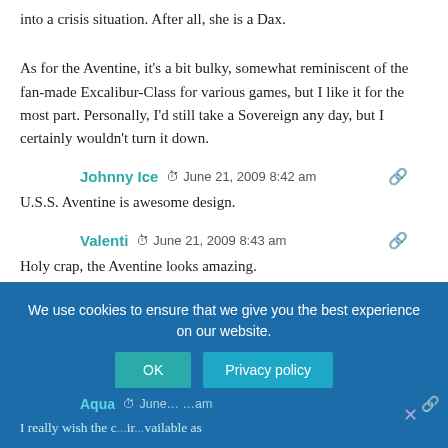into a crisis situation. After all, she is a Dax.
As for the Aventine, it's a bit bulky, somewhat reminiscent of the fan-made Excalibur-Class for various games, but I like it for the most part. Personally, I'd still take a Sovereign any day, but I certainly wouldn't turn it down.
Johnny Ice  June 21, 2009 8:42 am
U.S.S. Aventine is awesome design.
Valenti  June 21, 2009 8:43 am
Holy crap, the Aventine looks amazing.
Aqua  June ...  am
I really wish the c... ir ...vailable as
We use cookies to ensure that we give you the best experience on our website.